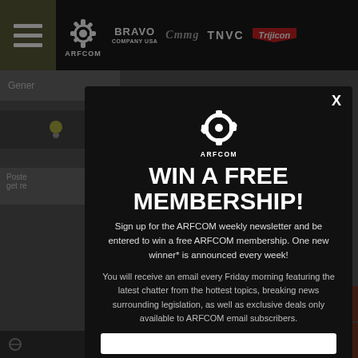[Figure (screenshot): ARFCOM website screenshot showing top navigation bar with hamburger menu, ARFCOM logo, Bravo Company USA logo, CMMG logo, TNVC logo, and Trijicon logo on dark background.]
[Figure (infographic): ARFCOM modal popup with gear logo, headline 'WIN A FREE MEMBERSHIP!', body text about signing up for the weekly newsletter to win a free ARFCOM membership, and an email input field at the bottom.]
WIN A FREE MEMBERSHIP!
Sign up for the ARFCOM weekly newsletter and be entered to win a free ARFCOM membership. One new winner* is announced every week!
You will receive an email every Friday morning featuring the latest chatter from the hottest topics, breaking news surrounding legislation, as well as exclusive deals only available to ARFCOM email subscribers.